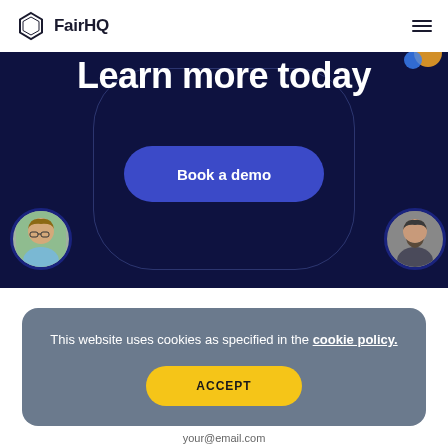[Figure (logo): FairHQ logo with hexagon icon and bold text FairHQ, plus hamburger menu icon on right]
[Figure (illustration): Dark navy hero banner with large white bold heading 'Learn more today', a blue rounded rectangle button labeled 'Book a demo', circular avatar photos on left and right sides, and decorative hexagon outline]
This website uses cookies as specified in the cookie policy.
[Figure (other): Yellow rounded ACCEPT button inside grey cookie consent banner]
your@email.com